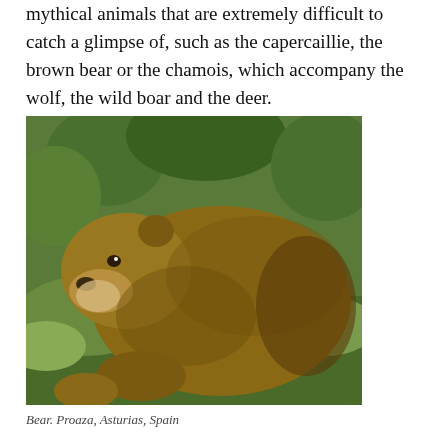mythical animals that are extremely difficult to catch a glimpse of, such as the capercaillie, the brown bear or the chamois, which accompany the wolf, the wild boar and the deer.
[Figure (photo): A brown bear photographed from above and to the side, walking through green vegetation. The bear has thick brown fur. Location: Proaza, Asturias, Spain.]
Bear. Proaza, Asturias, Spain
Natural beauty deserves recognition, and accordingly almost a third of the region has been declared a Protected Nature Area (Biosphere Reserves, National park, Nature Parks...). However,